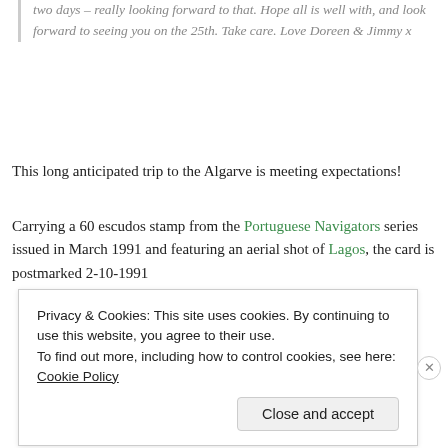two days – really looking forward to that. Hope all is well with, and look forward to seeing you on the 25th. Take care. Love Doreen & Jimmy x
This long anticipated trip to the Algarve is meeting expectations!
Carrying a 60 escudos stamp from the Portuguese Navigators series issued in March 1991 and featuring an aerial shot of Lagos, the card is postmarked 2-10-1991
[Figure (other): Advertisement banner with gradient background (blue to pink/purple) showing text 'everything you need.']
Privacy & Cookies: This site uses cookies. By continuing to use this website, you agree to their use.
To find out more, including how to control cookies, see here: Cookie Policy
Close and accept